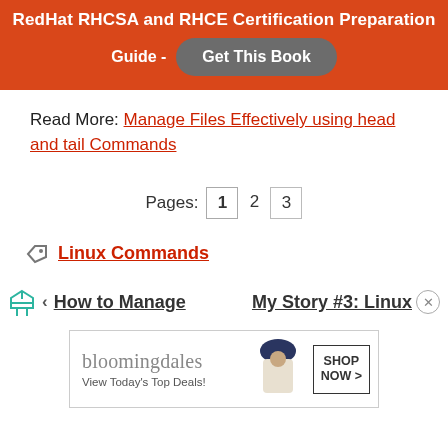RedHat RHCSA and RHCE Certification Preparation Guide - Get This Book
Read More: Manage Files Effectively using head and tail Commands
Pages: 1 2 3
Linux Commands
‹ How to Manage   My Story #3: Linux ×
[Figure (other): Bloomingdale's advertisement banner with logo, tagline 'View Today's Top Deals!', model photo, and 'SHOP NOW >' button]